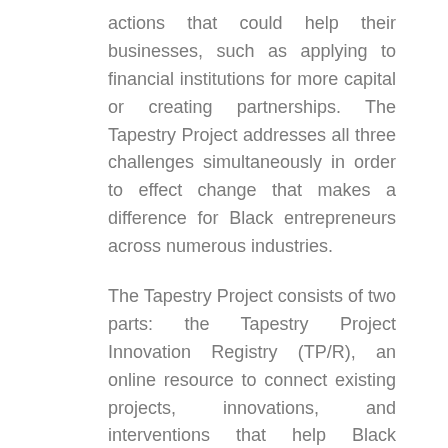actions that could help their businesses, such as applying to financial institutions for more capital or creating partnerships. The Tapestry Project addresses all three challenges simultaneously in order to effect change that makes a difference for Black entrepreneurs across numerous industries.
The Tapestry Project consists of two parts: the Tapestry Project Innovation Registry (TP/R), an online resource to connect existing projects, innovations, and interventions that help Black business owners with opportunities for more funding and attention; and, the Tapestry Project Action Lab, which will award up to $50,000 to select applicants nationwide to advance a shared business development objective that addresses the interlinkage of the three gaps illustrated in the report. Action Lab contracts will be awarded